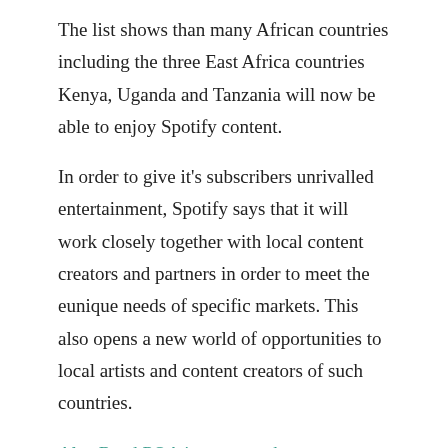The list shows than many African countries including the three East Africa countries Kenya, Uganda and Tanzania will now be able to enjoy Spotify content.
In order to give it's subscribers unrivalled entertainment, Spotify says that it will work closely together with local content creators and partners in order to meet the eunique needs of specific markets. This also opens a new world of opportunities to local artists and content creators of such countries.
Also Read POA internet packages
Spotify Premium Plans.
Why go premium?
Download and listen to music anywhere anytime.